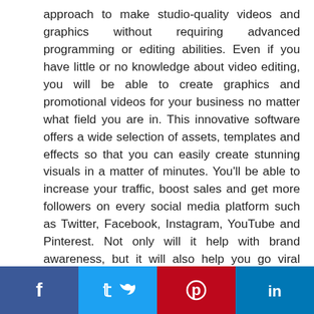approach to make studio-quality videos and graphics without requiring advanced programming or editing abilities. Even if you have little or no knowledge about video editing, you will be able to create graphics and promotional videos for your business no matter what field you are in. This innovative software offers a wide selection of assets, templates and effects so that you can easily create stunning visuals in a matter of minutes. You'll be able to increase your traffic, boost sales and get more followers on every social media platform such as Twitter, Facebook, Instagram, YouTube and Pinterest. Not only will it help with brand awareness, but it will also help you go viral before your competitors even have time to catch up!

Levidio breaks the boundaries of powerpoint
[Figure (other): Social media share bar with four buttons: Facebook (blue), Twitter (light blue), Pinterest (red), LinkedIn (dark blue)]